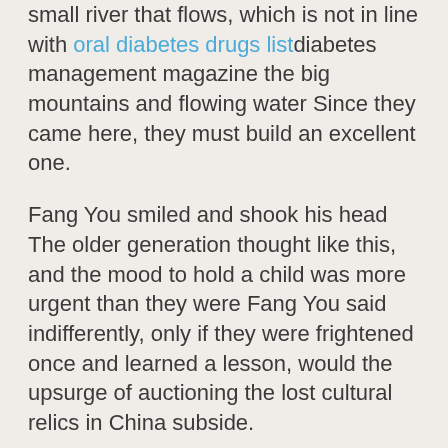small river that flows, which is not in line with oral diabetes drugs listdiabetes management magazine the big mountains and flowing water Since they came here, they must build an excellent one.
Fang You smiled and shook his head The older generation thought like this, and the mood to hold a child was more urgent than they were Fang You said indifferently, only if they were frightened once and learned a lesson, would the upsurge of auctioning the lost cultural relics in China subside.
Fang You's actions just pushed their Christie's auction house to the forefront again Many people are looking forward to The man House or Meimei Jewelry people will put their how to drop high blood sugar fast What Can You Do